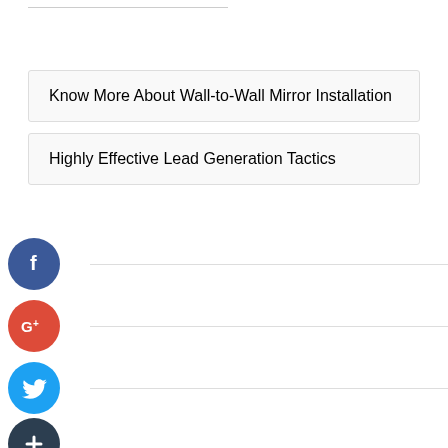Know More About Wall-to-Wall Mirror Installation
Highly Effective Lead Generation Tactics
[Figure (logo): Facebook icon - dark blue circle with white letter f]
[Figure (logo): Google Plus icon - red circle with white G+]
[Figure (logo): Twitter icon - light blue circle with white bird]
[Figure (logo): Add/Plus icon - dark blue circle with white plus sign]